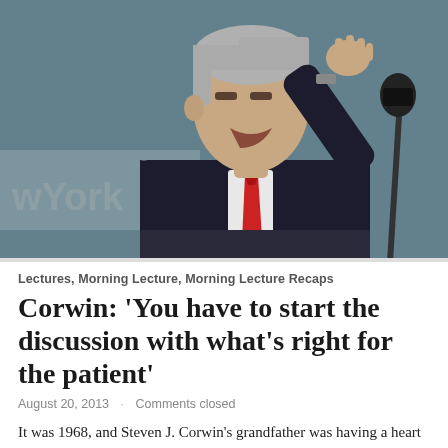[Figure (photo): A man in a dark suit with a red tie speaking at a podium with a microphone, raising his right hand, with a light blue backdrop partially visible showing 'wYork' text.]
Lectures, Morning Lecture, Morning Lecture Recaps
Corwin: 'You have to start the discussion with what's right for the patient'
August 20, 2013   Comments closed
It was 1968, and Steven J. Corwin's grandfather was having a heart attack. At 12 years old, Corwin observed the treatment his 62-year-old grandfather was given — recommended bed rest for six weeks and the advice to